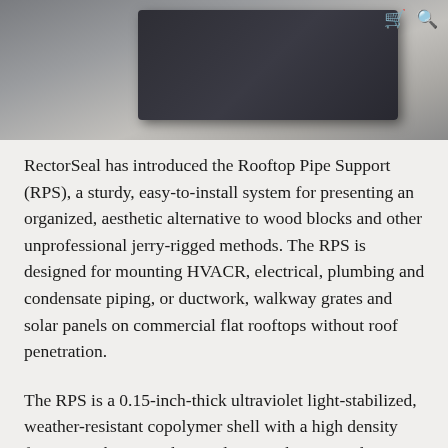[Figure (photo): Product photo showing a dark grey plastic Rooftop Pipe Support (RPS) unit on a textured grey surface, with shopping cart and search icons visible in the upper right corner.]
RectorSeal has introduced the Rooftop Pipe Support (RPS), a sturdy, easy-to-install system for presenting an organized, aesthetic alternative to wood blocks and other unprofessional jerry-rigged methods. The RPS is designed for mounting HVACR, electrical, plumbing and condensate piping, or ductwork, walkway grates and solar panels on commercial flat rooftops without roof penetration.
The RPS is a 0.15-inch-thick ultraviolet light-stabilized, weather-resistant copolymer shell with a high density foam core that provides insulation, vibration isolation and roof membrane protection. The 7.5-inch by 8-inch by 5-inch RPS weighs only 0.78 pounds, but can